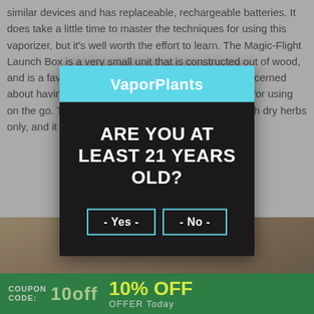similar devices and has replaceable, rechargeable batteries. It does take a little time to master the techniques for using this vaporizer, but it's well worth the effort to learn. The Magic-Flight Launch Box is a very small unit that is constructed out of wood, and is a favorite among individuals who are most concerned about having a compact vaporizer that is convenient for using on the go. The original MFLB model is compatible with dry herbs only, and it has a number of g
[Figure (screenshot): Age verification modal dialog from VaporPlants website. Cyan header with 'VaporPlants' branding, black body asking 'ARE YOU AT LEAST 21 YEARS OLD?' with two buttons: '- Yes -' and '- No -' outlined in cyan.]
[Figure (photo): Partial photo of a wooden vaporizer device (Magic-Flight Launch Box) on a wooden surface, visible at the bottom of the page behind/below the modal.]
COUPON CODE: 10off  10% OFF OFFER Today